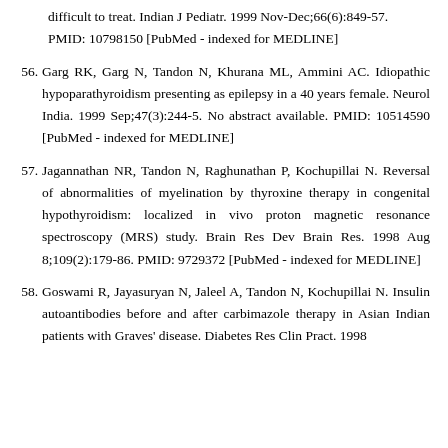difficult to treat. Indian J Pediatr. 1999 Nov-Dec;66(6):849-57. PMID: 10798150 [PubMed - indexed for MEDLINE]
56. Garg RK, Garg N, Tandon N, Khurana ML, Ammini AC. Idiopathic hypoparathyroidism presenting as epilepsy in a 40 years female. Neurol India. 1999 Sep;47(3):244-5. No abstract available. PMID: 10514590 [PubMed - indexed for MEDLINE]
57. Jagannathan NR, Tandon N, Raghunathan P, Kochupillai N. Reversal of abnormalities of myelination by thyroxine therapy in congenital hypothyroidism: localized in vivo proton magnetic resonance spectroscopy (MRS) study. Brain Res Dev Brain Res. 1998 Aug 8;109(2):179-86. PMID: 9729372 [PubMed - indexed for MEDLINE]
58. Goswami R, Jayasuryan N, Jaleel A, Tandon N, Kochupillai N. Insulin autoantibodies before and after carbimazole therapy in Asian Indian patients with Graves' disease. Diabetes Res Clin Pract. 1998